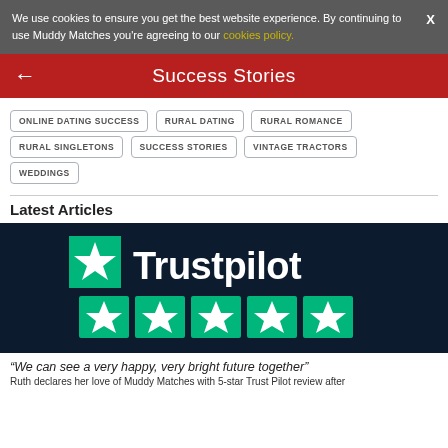We use cookies to ensure you get the best website experience. By continuing to use Muddy Matches you're agreeing to our cookies policy.
Success Stories
ONLINE DATING SUCCESS
RURAL DATING
RURAL ROMANCE
RURAL SINGLETONS
SUCCESS STORIES
VINTAGE TRACTORS
WEDDINGS
Latest Articles
[Figure (logo): Trustpilot logo on dark navy background with five green star rating boxes below]
“We can see a very happy, very bright future together”
Ruth declares her love of Muddy Matches with 5-star Trust Pilot review after